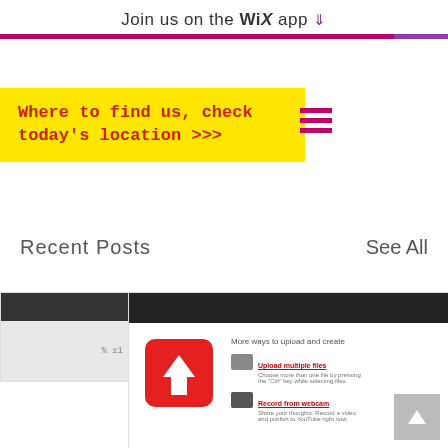Join us on the WiX app ⬇
Where to find us, check today's location >>>
Recent Posts
See All
[Figure (screenshot): Screenshot of a YouTube video uploader interface with upload icon, 'Select files from your computer' button, and options for uploading multiple files or recording from webcam]
Free YouTube Uploader Activation...
0  0